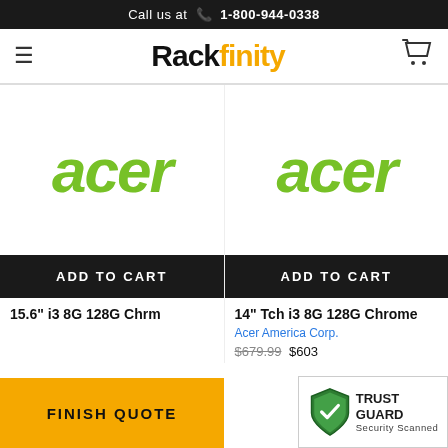Call us at  1-800-944-0338
[Figure (logo): Rackfinity logo with hamburger menu and cart icon in navigation bar]
[Figure (logo): Acer logo (green italic) for product 1 (left column)]
[Figure (logo): Acer logo (green italic) for product 2 (right column)]
ADD TO CART
ADD TO CART
15.6" i3 8G 128G Chrm
14" Tch i3 8G 128G Chrome
Acer America Corp.
$679.99  $603
FINISH QUOTE
[Figure (logo): Trust Guard Security Scanned badge with green shield icon]